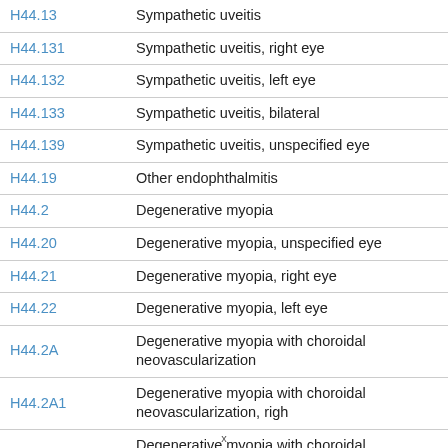| Code | Description |
| --- | --- |
| H44.13 | Sympathetic uveitis |
| H44.131 | Sympathetic uveitis, right eye |
| H44.132 | Sympathetic uveitis, left eye |
| H44.133 | Sympathetic uveitis, bilateral |
| H44.139 | Sympathetic uveitis, unspecified eye |
| H44.19 | Other endophthalmitis |
| H44.2 | Degenerative myopia |
| H44.20 | Degenerative myopia, unspecified eye |
| H44.21 | Degenerative myopia, right eye |
| H44.22 | Degenerative myopia, left eye |
| H44.2A | Degenerative myopia with choroidal neovascularization |
| H44.2A1 | Degenerative myopia with choroidal neovascularization, right eye |
| H44.2A2 | Degenerative myopia with choroidal neovascularization, left eye |
x